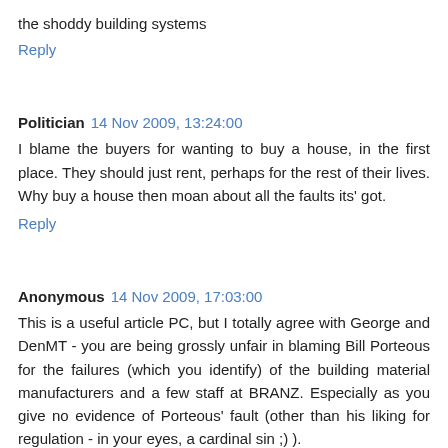the shoddy building systems
Reply
Politician  14 Nov 2009, 13:24:00
I blame the buyers for wanting to buy a house, in the first place. They should just rent, perhaps for the rest of their lives. Why buy a house then moan about all the faults its' got.
Reply
Anonymous  14 Nov 2009, 17:03:00
This is a useful article PC, but I totally agree with George and DenMT - you are being grossly unfair in blaming Bill Porteous for the failures (which you identify) of the building material manufacturers and a few staff at BRANZ. Especially as you give no evidence of Porteous' fault (other than his liking for regulation - in your eyes, a cardinal sin ;) ).